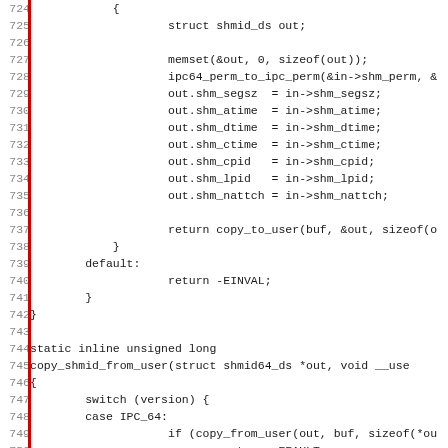Source code listing, lines 724-755, showing C code for shmid copy functions including struct assignments and copy_shmid_from_user function definition.